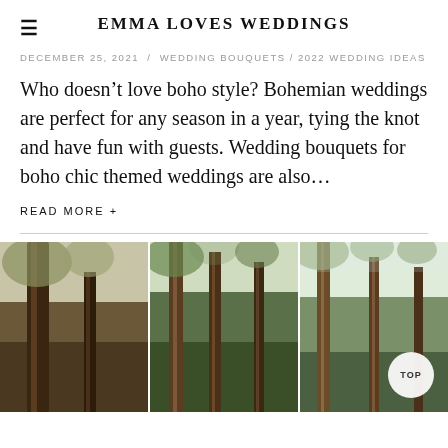EMMA LOVES WEDDINGS
DECEMBER 25, 2021  /  WEDDING BOUQUETS / 2022 WEDDING IDEAS
Who doesn’t love boho style? Bohemian weddings are perfect for any season in a year, tying the knot and have fun with guests. Wedding bouquets for boho chic themed weddings are also…
READ MORE +
[Figure (photo): Three-panel photo collage of tall trees in a forest setting with natural light filtering through the canopy. A circular 'TOP' button is overlaid in the bottom-right corner.]